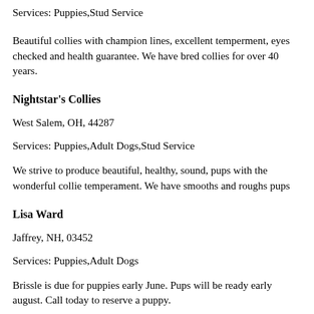Beautiful collies with champion lines, excellent temperment, eyes checked and health guarantee. We have bred collies for over 40 years.
Nightstar's Collies
West Salem, OH, 44287
Services: Puppies,Adult Dogs,Stud Service
We strive to produce beautiful, healthy, sound, pups with the wonderful collie temperament. We have smooths and roughs pups
Lisa Ward
Jaffrey, NH, 03452
Services: Puppies,Adult Dogs
Brissle is due for puppies early June. Pups will be ready early august. Call today to reserve a puppy.
Holbrook Scotch Collies
Amarillo, TX, 33473